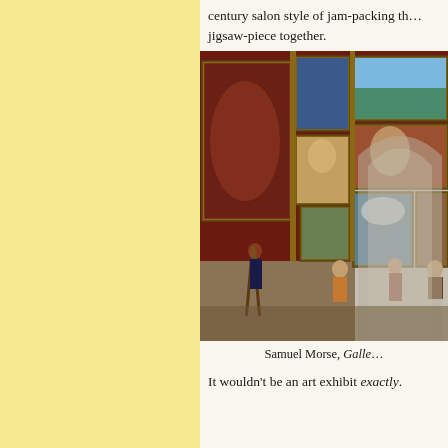century salon style of jam-packing th… jigsaw-piece together.
[Figure (photo): Samuel Morse, Gallery of the Louvre painting showing a grand salon with walls covered in paintings and figures copying artworks]
Samuel Morse, Galle…
It wouldn't be an art exhibit exactly.…